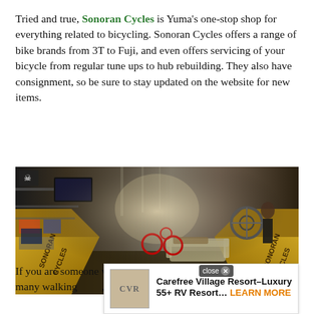Tried and true, Sonoran Cycles is Yuma's one-stop shop for everything related to bicycling. Sonoran Cycles offers a range of bike brands from 3T to Fuji, and even offers servicing of your bicycle from regular tune ups to hub rebuilding. They also have consignment, so be sure to stay updated on the website for new items.
[Figure (photo): Interior panoramic photo of Sonoran Cycles bike shop showing long hallway with bikes, merchandise, wooden counters branded 'Sonoran Cycles', a couch seating area, and a person standing near the right counter.]
Sonoran Cycles
If you are someone who enjoys outdoor exercises, check out the many walking  , at the Yuma V  hiking